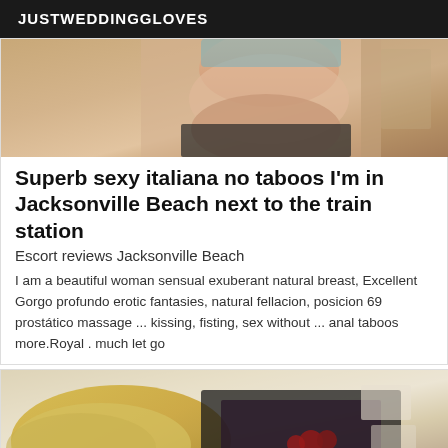JUSTWEDDINGGLOVES
[Figure (photo): Partial photo of a woman's lower body in underwear, mirror selfie style, warm toned interior background]
Superb sexy italiana no taboos I'm in Jacksonville Beach next to the train station
Escort reviews Jacksonville Beach
I am a beautiful woman sensual exuberant natural breast, Excellent Gorgo profundo erotic fantasies, natural fellacion, posicion 69 prostático massage ... kissing, fisting, sex without ... anal taboos more.Royal . much let go
[Figure (photo): Photo of a woman with blonde hair lying on a bed wearing black lingerie, partial view from above]